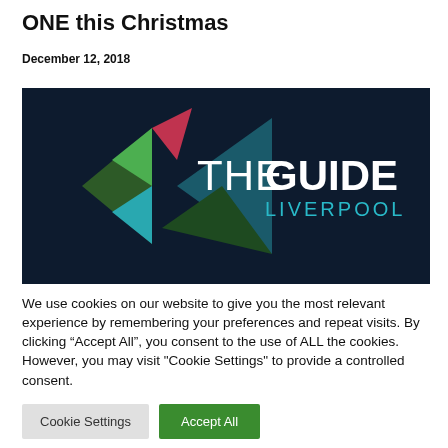ONE this Christmas
December 12, 2018
[Figure (logo): The Guide Liverpool logo — dark navy background with colourful geometric arrow triangles (green, teal, red, dark green, dark teal) on the left and bold white text reading 'THEGUIDE' with 'LIVERPOOL' in teal beneath.]
We use cookies on our website to give you the most relevant experience by remembering your preferences and repeat visits. By clicking “Accept All”, you consent to the use of ALL the cookies. However, you may visit "Cookie Settings" to provide a controlled consent.